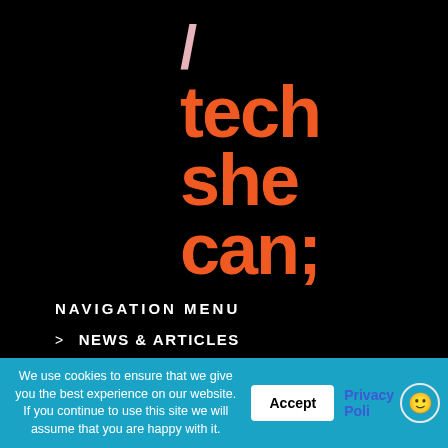[Figure (logo): Tech She Can logo: a pink forward slash followed by orange bold text reading 'tech she can;' on black background]
NAVIGATION MENU
> NEWS & ARTICLES
> TECH JOBS SEARCH
> TECH NETWORKS
We use cookies to ensure that we give you the best experience on our website. If you continue to use this site we will assume that you are happy with it.
Accept
Privacy Poli